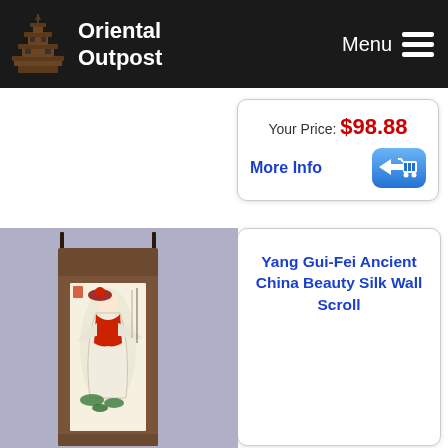[Figure (logo): Oriental Outpost logo: pagoda icon and text on dark header bar]
Menu
Your Price: $98.88
More Info
[Figure (photo): Yang Gui-Fei Ancient China Beauty Silk Wall Scroll showing a traditional Chinese painting of a beauty figure on a silk wall scroll with brown silk borders]
Yang Gui-Fei Ancient China Beauty Silk Wall Scroll